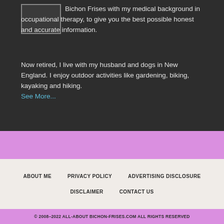Bichon Frises with my medical background in occupational therapy, to give you the best possible honest and accurate information.
Now retired, I live with my husband and dogs in New England. I enjoy outdoor activities like gardening, biking, kayaking and hiking.
See More...
ABOUT ME    PRIVACY POLICY    ADVERTISING DISCLOSURE    DISCLAIMER    CONTACT US
© 2008–2022 ALL-ABOUT BICHON-FRISES.COM ALL RIGHTS RESERVED